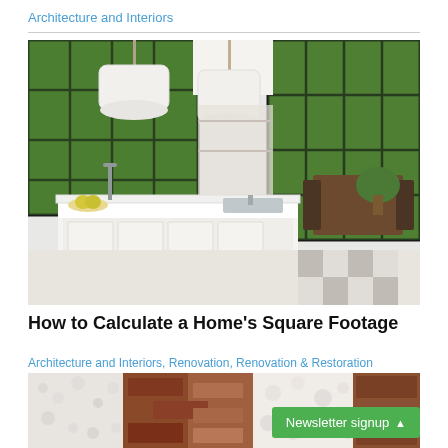Architecture and Interiors
[Figure (photo): Bright modern kitchen interior with white cabinets and island, pendant drum lights, black-framed floor-to-ceiling windows overlooking trees, and a dining area in the background]
How to Calculate a Home's Square Footage
Architecture and Interiors, Renovation, Renovation & Restoration
[Figure (photo): Close-up of carpet and flooring samples in various textures and colors — white, beige, brown, rust — displayed as swatches]
Newsletter signup